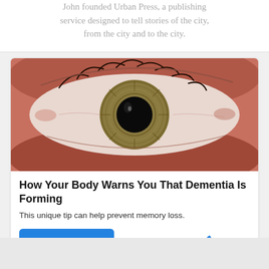John founded Urban Press, a publishing service designed to tell stories of the city, from the city and to the city.
[Figure (photo): Close-up macro photograph of a human eye with a hazel/green iris and dark pupil, showing detailed eyelashes and skin texture around the eye.]
How Your Body Warns You That Dementia Is Forming
This unique tip can help prevent memory loss.
Find Out More   🔥 35,722